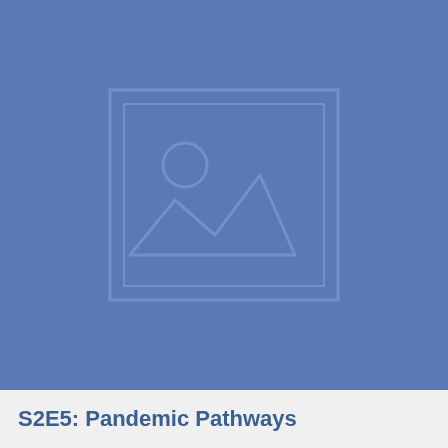[Figure (illustration): Placeholder image icon — a landscape image placeholder showing a mountain/hill silhouette with a sun circle, inside a double-bordered rectangle frame, all rendered in slightly lighter blue against the steel-blue background.]
S2E5: Pandemic Pathways